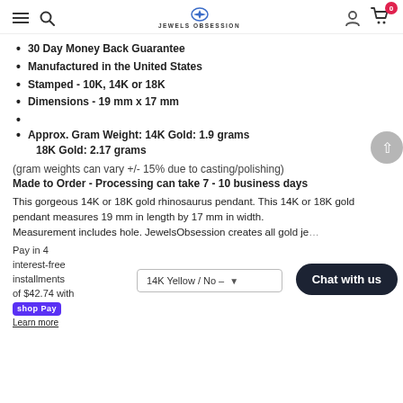Jewels Obsession — navigation header with hamburger, search, logo, user, cart(0)
30 Day Money Back Guarantee
Manufactured in the United States
Stamped - 10K, 14K or 18K
Dimensions - 19 mm x 17 mm
Approx. Gram Weight: 14K Gold: 1.9 grams 18K Gold: 2.17 grams
(gram weights can vary +/- 15% due to casting/polishing)
Made to Order - Processing can take 7 - 10 business days
This gorgeous 14K or 18K gold rhinosaurus pendant. This 14K or 18K gold pendant measures 19 mm in length by 17 mm in width. Measurement includes hole. JewelsObsession creates all gold je...
Pay in 4 interest-free installments of $42.74 with Shop Pay
Learn more
14K Yellow / No -
Chat with us